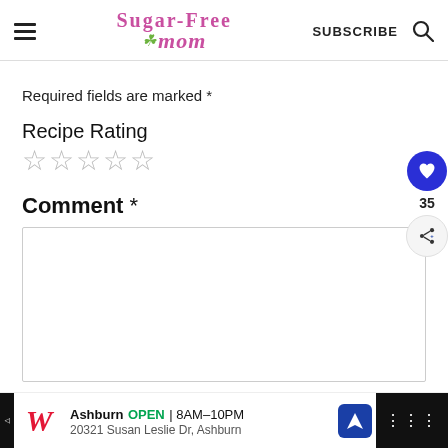Sugar-Free Mom — SUBSCRIBE
Required fields are marked *
Recipe Rating
☆☆☆☆☆
Comment *
[Figure (screenshot): Comment text area input box, empty]
[Figure (infographic): Floating heart/like button showing 35 likes and a share button]
[Figure (infographic): Walgreens advertisement bar: Ashburn OPEN 8AM-10PM, 20321 Susan Leslie Dr, Ashburn]